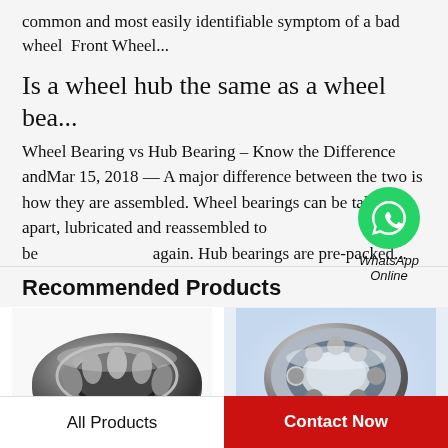common and most easily identifiable symptom of a bad wheel  Front Wheel...
Is a wheel hub the same as a wheel bea...
Wheel Bearing vs Hub Bearing – Know the Difference andMar 15, 2018 — A major difference between the two is how they are assembled. Wheel bearings can be taken apart, lubricated and reassembled to be again. Hub bearings are pre-packed...
[Figure (logo): WhatsApp green phone icon with label 'WhatsApp Online']
Recommended Products
[Figure (photo): Tapered roller bearing, dark metallic, viewed from angle]
[Figure (photo): Ball bearing, silver metallic, viewed from angle on light blue background]
All Products
Contact Now